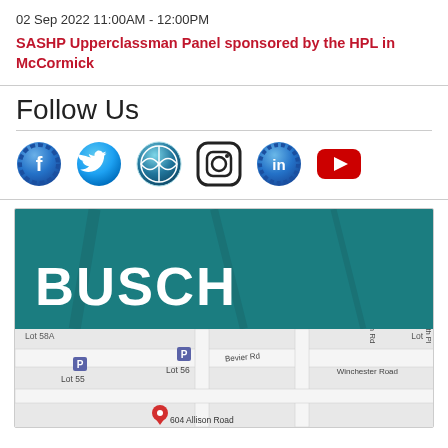02 Sep 2022 11:00AM - 12:00PM
SASHP Upperclassman Panel sponsored by the HPL in McCormick
Follow Us
[Figure (other): Social media icons: Facebook, Twitter, WordPress, Instagram, LinkedIn, YouTube]
[Figure (map): Google Maps showing Busch Campus area with Lot 58A, Lot 55, Lot 56, Bevier Rd, Van Der Meulen Rd, Winchester Road, Titsworth Pl, and a red pin at 604 Allison Road. Teal banner with BUSCH text overlaid.]